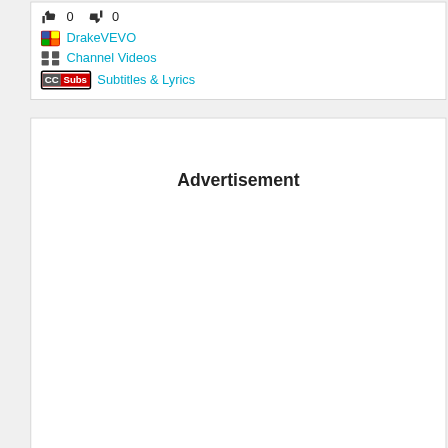👍 0  👎 0
DrakeVEVO
Channel Videos
Subtitles & Lyrics
Advertisement
[Figure (screenshot): Bottom strip showing a power button icon and a video thumbnail of a person in a snowy outdoor scene]